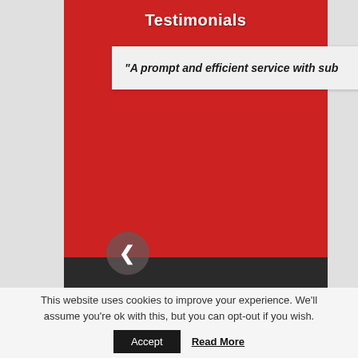Testimonials
"A prompt and efficient service with su...
[Figure (other): Left navigation arrow button (chevron left) on red background]
Contact Us
This website uses cookies to improve your experience. We'll assume you're ok with this, but you can opt-out if you wish.
Accept
Read More